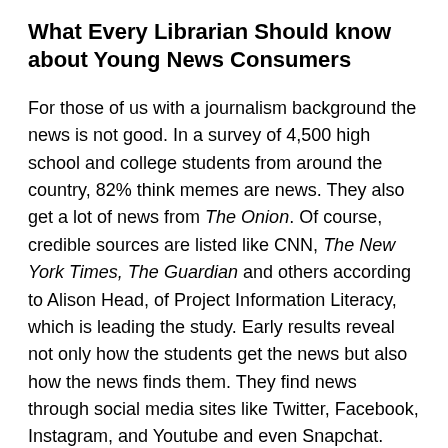What Every Librarian Should know about Young News Consumers
For those of us with a journalism background the news is not good. In a survey of 4,500 high school and college students from around the country, 82% think memes are news. They also get a lot of news from The Onion. Of course, credible sources are listed like CNN, The New York Times, The Guardian and others according to Alison Head, of Project Information Literacy, which is leading the study. Early results reveal not only how the students get the news but also how the news finds them. They find news through social media sites like Twitter, Facebook, Instagram, and Youtube and even Snapchat. “Facebook is dying,” in Head’s survey population, though it’s hard to believe since Zuckerberg just bounced Warren Buffet as the third richest person in America. In a bit of good news